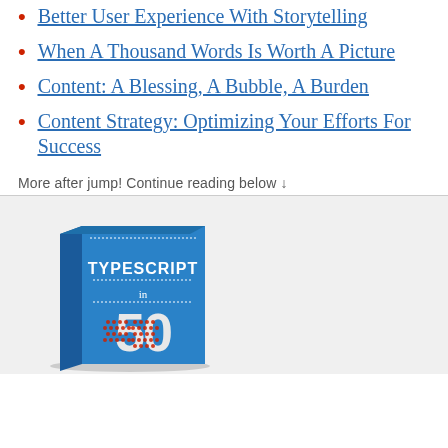Better User Experience With Storytelling
When A Thousand Words Is Worth A Picture
Content: A Blessing, A Bubble, A Burden
Content Strategy: Optimizing Your Efforts For Success
More after jump! Continue reading below ↓
[Figure (photo): Book cover titled 'TYPESCRIPT in 50' shown at an angle on a light gray background. The book has a blue cover with white text and red dotted number '50'.]